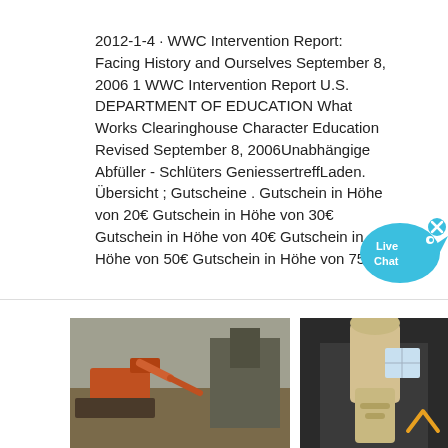2012-1-4 · WWC Intervention Report: Facing History and Ourselves September 8, 2006 1 WWC Intervention Report U.S. DEPARTMENT OF EDUCATION What Works Clearinghouse Character Education Revised September 8, 2006Unabhängige Abfüller - Schlüters GeniessertreffLaden. Übersicht ; Gutscheine . Gutschein in Höhe von 20€ Gutschein in Höhe von 30€ Gutschein in Höhe von 40€ Gutschein in Höhe von 50€ Gutschein in Höhe von 75€
[Figure (illustration): Live Chat button with speech bubble icon in teal/cyan color with an X close button]
[Figure (photo): Two photos side by side: left photo shows outdoor machinery/excavator scene, right photo shows industrial indoor equipment with pipes/ducts]